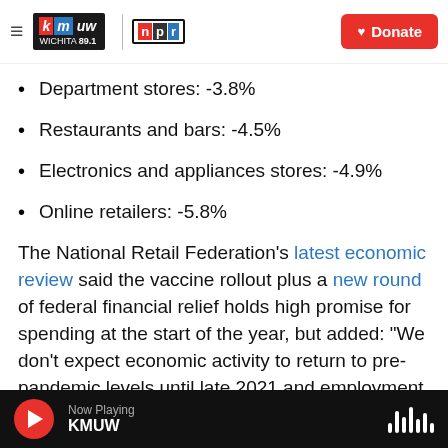KMUW Wichita 89.1 | NPR | Donate
Department stores: -3.8%
Restaurants and bars: -4.5%
Electronics and appliances stores: -4.9%
Online retailers: -5.8%
The National Retail Federation's latest economic review said the vaccine rollout plus a new round of federal financial relief holds high promise for spending at the start of the year, but added: "We don't expect economic activity to return to pre-pandemic levels until late 2021 and employment at
Now Playing KMUW